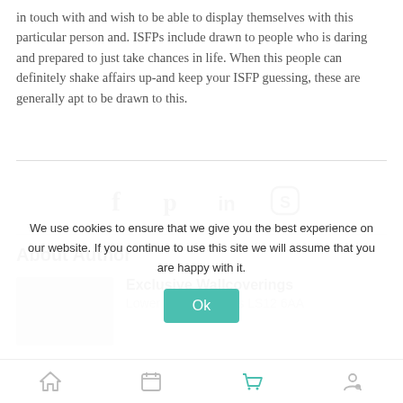in touch with and wish to be able to display themselves with this particular person and. ISFPs include drawn to people who is daring and prepared to just take chances in life. When this people can definitely shake affairs up-and keep your ISFP guessing, these are generally apt to be drawn to this.
[Figure (other): Social sharing icons: Facebook (f), Pinterest (p), LinkedIn (in), Skype (S)]
About Author
[Figure (other): Author profile image placeholder (gray rectangle)]
Exclusive Wallcoverings
Lower Wortley Leeds LS12 6AA
We use cookies to ensure that we give you the best experience on our website. If you continue to use this site we will assume that you are happy with it.